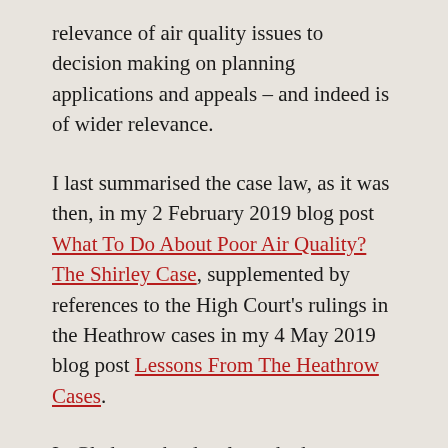relevance of air quality issues to decision making on planning applications and appeals – and indeed is of wider relevance.
I last summarised the case law, as it was then, in my 2 February 2019 blog post What To Do About Poor Air Quality? The Shirley Case, supplemented by references to the High Court's rulings in the Heathrow cases in my 4 May 2019 blog post Lessons From The Heathrow Cases.
In Gladman the developer had challenged an inspector's decision letter which had dismissed its appeal in relation to a proposed residential and extra care development at Pond Farm,